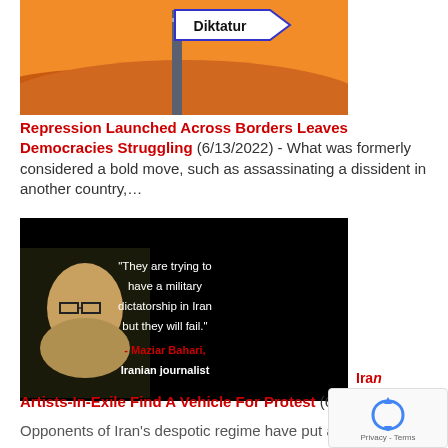[Figure (illustration): Illustration of a road sign reading 'Diktatur' (German for 'dictatorship') against an orange/red desert landscape background.]
Repression Launched Across Borders Leaves Democracies Struggling (6/13/2022) - What was formerly considered a bold move, such as assassinating a dissident in another country,…
[Figure (photo): Dark background image with a photo of Maziar Bahari on the left and a quote reading: "They are trying to have a military dictatorship in Iran but they will fail." - Maziar Bahari, Iranian journalist]
Iran…
Artists-In-Exile Find A Vehicle For Protest (6/13/202… Opponents of Iran's despotic regime have put an artistic…